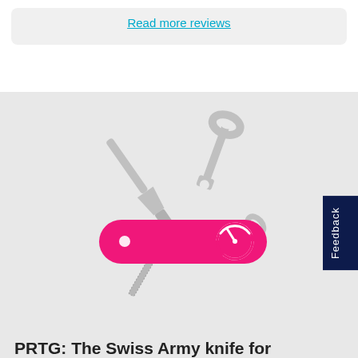Read more reviews
[Figure (illustration): Swiss Army knife illustration with pink/red body and tools including screwdriver, wrench, file, and a speedometer icon on the knife body. Tools fanned out in the background in light gray.]
Feedback
PRTG: The Swiss Army knife for